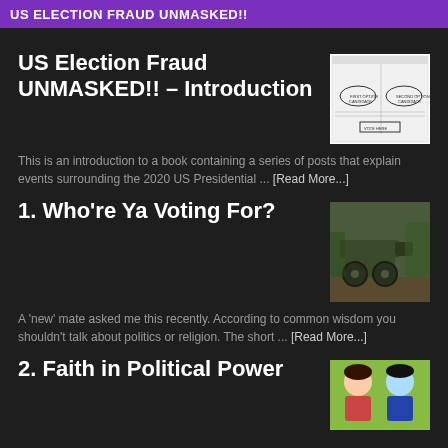US ELECTION FRAUD UNMASKED!!
US Election Fraud UNMASKED!! – Introduction
This is an introduction to a book containing a series of posts that explain events surrounding the 2020 US Presidential ... [Read More...]
[Figure (illustration): Thumbnail image of a ballot or document layout diagram]
1. Who're Ya Voting For?
A 'new' mate asked me this recently. According to common wisdom you shouldn't talk about politics or religion. The short ... [Read More...]
[Figure (photo): Photo of a green military cannon or artillery piece outdoors]
2. Faith in Political Power